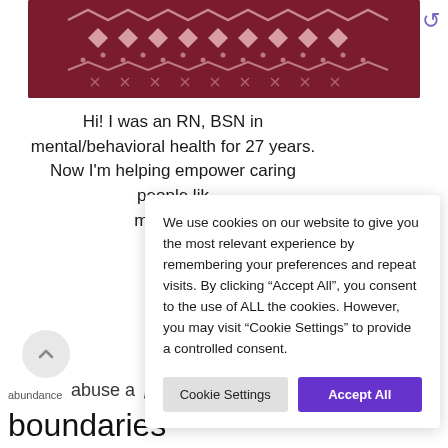[Figure (photo): Partial photo of a person wearing a dark red/maroon fair-isle patterned sweater with pink/white geometric diamond and zigzag pattern at the neckline area.]
Hi! I was an RN, BSN in mental/behavioral health for 27 years. Now I'm helping empower caring people lik[e you...] maintainin[g...] f[...]
We use cookies on our website to give you the most relevant experience by remembering your preferences and repeat visits. By clicking "Accept All", you consent to the use of ALL the cookies. However, you may visit "Cookie Settings" to provide a controlled consent.
Cookie Settings   Accept All
abundance  abuse a[...]  appreciation  awareness  boundaries